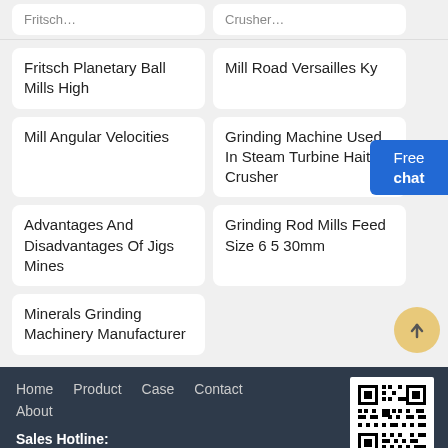Fritsch Planetary Ball Mills High
Mill Road Versailles Ky
Mill Angular Velocities
Grinding Machine Used In Steam Turbine Haiti Crusher
Advantages And Disadvantages Of Jigs Mines
Grinding Rod Mills Feed Size 6 5 30mm
Minerals Grinding Machinery Manufacturer
Home  Product  Case  Contact  About
Sales Hotline: